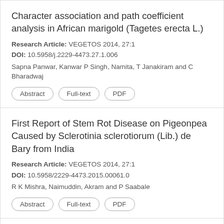Character association and path coefficient analysis in African marigold (Tagetes erecta L.)
Research Article: VEGETOS 2014, 27:1
DOI: 10.5958/j.2229-4473.27.1.006
Sapna Panwar, Kanwar P Singh, Namita, T Janakiram and C Bharadwaj
Abstract | Full-text | PDF
First Report of Stem Rot Disease on Pigeonpea Caused by Sclerotinia sclerotiorum (Lib.) de Bary from India
Research Article: VEGETOS 2014, 27:1
DOI: 10.5958/2229-4473.2015.00061.0
R K Mishra, Naimuddin, Akram and P Saabale
Abstract | Full-text | PDF
Evaluation of Carbon and Nitrogen Metabolism in the Leaves of Some Creeper Weed Legumes